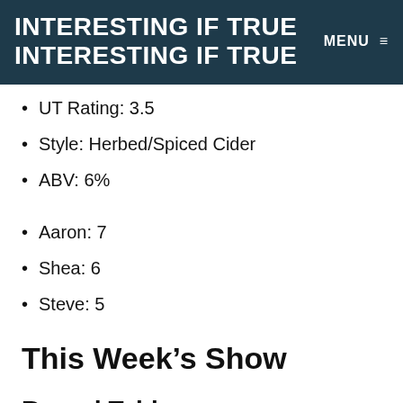INTERESTING IF TRUE INTERESTING IF TRUE MENU ≡
UT Rating: 3.5
Style: Herbed/Spiced Cider
ABV: 6%
Aaron: 7
Shea: 6
Steve: 5
This Week's Show
Round Table